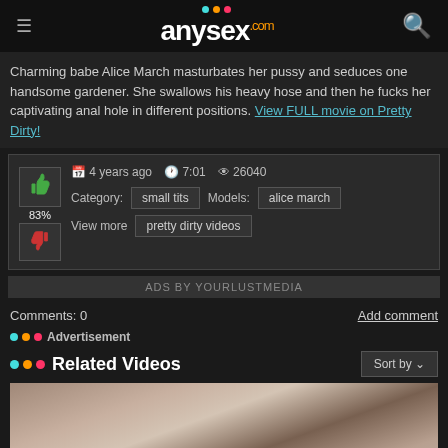anysex.com
Charming babe Alice March masturbates her pussy and seduces one handsome gardener. She swallows his heavy hose and then he fucks her captivating anal hole in different positions. View FULL movie on Pretty Dirty!
4 years ago  7:01  26040  Category: small tits  Models: alice march  View more: pretty dirty videos
ADS BY YOURLUSTMEDIA
Comments: 0
Add comment
Advertisement
Related Videos
[Figure (photo): Video thumbnail showing 14,304 views and 92% rating]